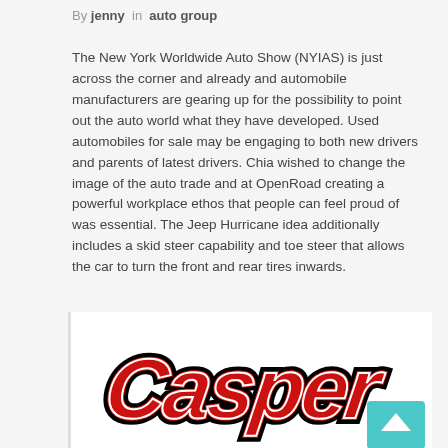By jenny in auto group
The New York Worldwide Auto Show (NYIAS) is just across the corner and already and automobile manufacturers are gearing up for the possibility to point out the auto world what they have developed. Used automobiles for sale may be engaging to both new drivers and parents of latest drivers. Chia wished to change the image of the auto trade and at OpenRoad creating a powerful workplace ethos that people can feel proud of was essential. The Jeep Hurricane idea additionally includes a skid steer capability and toe steer that allows the car to turn the front and rear tires inwards.
[Figure (logo): Casper stylized logo in red and black script lettering on white background]